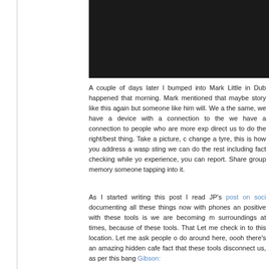[Figure (photo): Dark/black rectangular image area at top right of page]
A couple of days later I bumped into Mark Little in Dub happened that morning. Mark mentioned that maybe story like this again but someone like him will. We a the same, we have a device with a connection to the we have a connection to people who are more exp direct us to do the right/best thing. Take a picture, c change a tyre, this is how you address a wasp sting we can do the rest including fact checking while yo experience, you can report. Share group memory someone tapping into it.
As I started writing this post I read JP's post on soci documenting all these things now with phones an positive with these tools is we are becoming m surroundings at times, because of these tools. That Let me check in to this location. Let me ask people o do around here, oooh there's an amazing hidden cafe fact that these tools disconnect us, as per this bang Gibson: